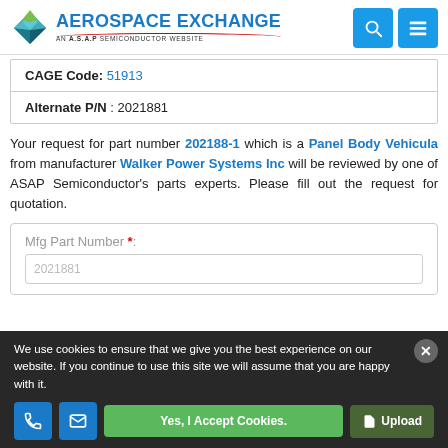AEROSPACE EXCHANGE — AN A.S.A.P SEMICONDUCTOR WEBSITE
| CAGE Code: 51913 |
| Alternate P/N : 2021881 |
Your request for part number 202188-1 which is a Panel Body Vehicula from manufacturer Walker Power Systems Inc will be reviewed by one of ASAP Semiconductor's parts experts. Please fill out the request for quotation.
Mfg Part Number *:
We use cookies to ensure that we give you the best experience on our website. If you continue to use this site we will assume that you are happy with it.